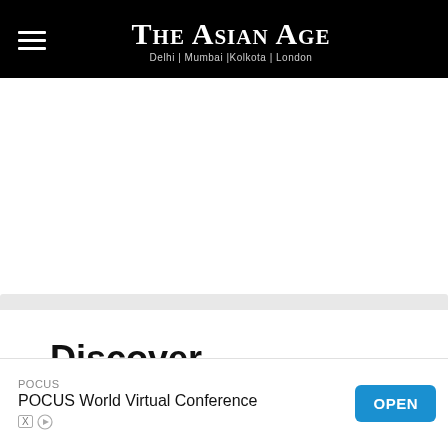The Asian Age — Delhi | Mumbai |Kolkota | London
Discover
[Figure (other): White empty content area below the header]
POCUS
POCUS World Virtual Conference
OPEN